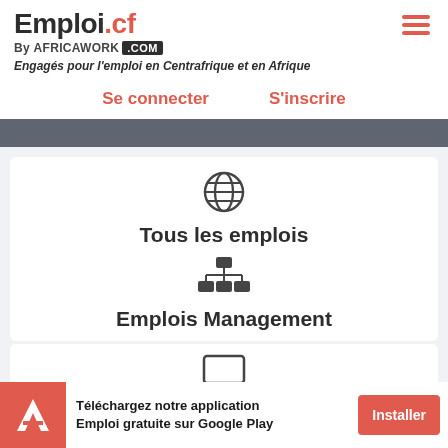Emploi.cf
By AFRICAWORK .COM
Engagés pour l'emploi en Centrafrique et en Afrique
Se connecter   S'inscrire
[Figure (infographic): Globe icon above 'Tous les emplois' menu item]
Tous les emplois
[Figure (infographic): Organizational chart icon above 'Emplois Management' menu item]
Emplois Management
[Figure (infographic): Monitor/computer icon above 'Emplois IT' menu item]
Emplois IT
Téléchargez notre application Emploi gratuite sur Google Play
Installer